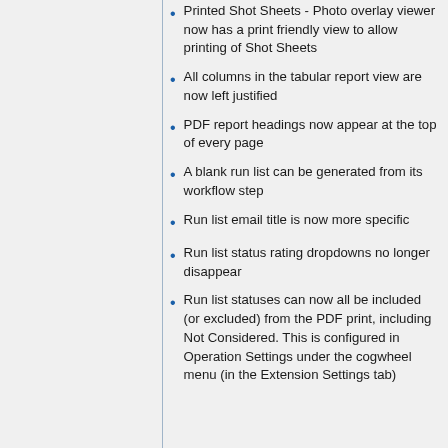Printed Shot Sheets - Photo overlay viewer now has a print friendly view to allow printing of Shot Sheets
All columns in the tabular report view are now left justified
PDF report headings now appear at the top of every page
A blank run list can be generated from its workflow step
Run list email title is now more specific
Run list status rating dropdowns no longer disappear
Run list statuses can now all be included (or excluded) from the PDF print, including Not Considered. This is configured in Operation Settings under the cogwheel menu (in the Extension Settings tab)